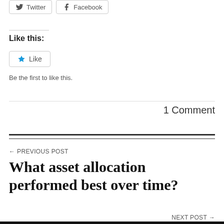[Figure (other): Social sharing buttons for Twitter and Facebook]
Like this:
[Figure (other): Like button with star icon]
Be the first to like this.
1 Comment
← PREVIOUS POST
What asset allocation performed best over time?
NEXT POST →